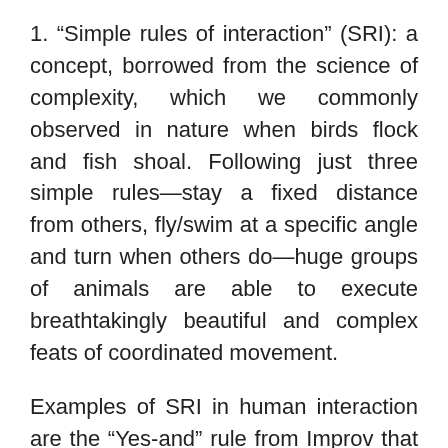1. “Simple rules of interaction” (SRI): a concept, borrowed from the science of complexity, which we commonly observed in nature when birds flock and fish shoal. Following just three simple rules—stay a fixed distance from others, fly/swim at a specific angle and turn when others do—huge groups of animals are able to execute breathtakingly beautiful and complex feats of coordinated movement.
Examples of SRI in human interaction are the “Yes-and” rule from Improv that encourages people to add value to each other’s ideas and the Talk-Type-Read-Review etiquette, designed for the Zing team meeting process, which